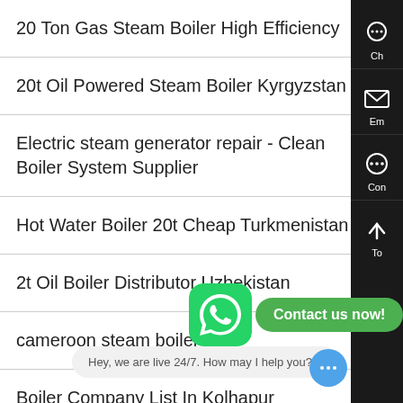20 Ton Gas Steam Boiler High Efficiency
20t Oil Powered Steam Boiler Kyrgyzstan
Electric steam generator repair - Clean Boiler System Supplier
Hot Water Boiler 20t Cheap Turkmenistan
2t Oil Boiler Distributor Uzbekistan
cameroon steam boiler
Boiler Company List In Kolhapur
Russia shell type oil fired steam boiler trainin
Boiler Price High Efficiency 1t Ukraine